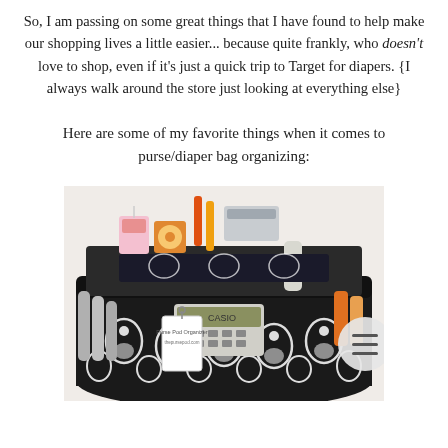So, I am passing on some great things that I have found to help make our shopping lives a little easier... because quite frankly, who doesn't love to shop, even if it's just a quick trip to Target for diapers. {I always walk around the store just looking at everything else}
Here are some of my favorite things when it comes to purse/diaper bag organizing:
[Figure (photo): A black and white damask-patterned purse organizer insert filled with various items including a Casio calculator, makeup, scissors, small boxes, and other accessories. A circular menu button overlay appears at the bottom right.]